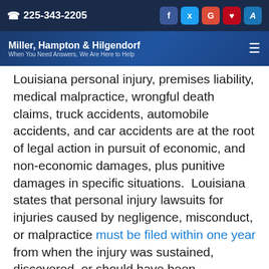225-343-2205
Miller, Hampton & Hilgendorf — When You Need Answers, We Are Here to Help
Louisiana personal injury, premises liability, medical malpractice, wrongful death claims, truck accidents, automobile accidents, and car accidents are at the root of legal action in pursuit of economic, and non-economic damages, plus punitive damages in specific situations.  Louisiana states that personal injury lawsuits for injuries caused by negligence, misconduct, or malpractice must be filed within one year from when the injury was sustained, discovered, or should have been discovered through reasonable care. Westminster LA auto accident attorneys